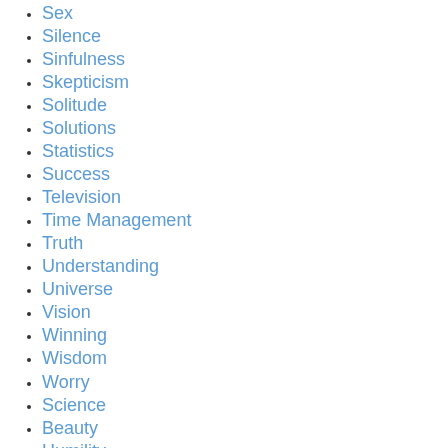Sex
Silence
Sinfulness
Skepticism
Solitude
Solutions
Statistics
Success
Television
Time Management
Truth
Understanding
Universe
Vision
Winning
Wisdom
Worry
Science
Beauty
Humility
Service
Evolution
Criticism